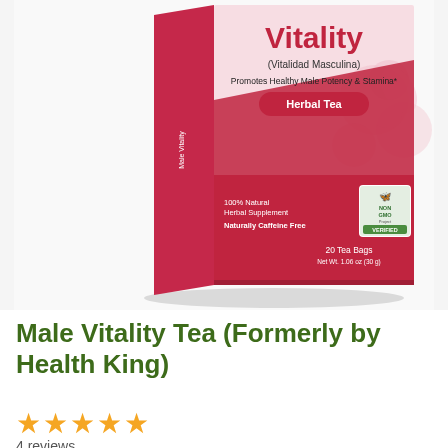[Figure (photo): Product box for Male Vitality Herbal Tea. Red and pink box with floral design. Text reads: Vitality, (Vitalidad Masculina), Promotes Healthy Male Potency & Stamina*, Herbal Tea, 100% Natural Herbal Supplement, Naturally Caffeine Free, 20 Tea Bags, Net Wt. 1.06 oz (30 g), NON GMO Project VERIFIED seal.]
Male Vitality Tea (Formerly by Health King)
★★★★★ 4 reviews